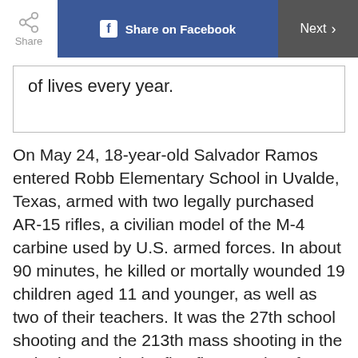Share | Share on Facebook | Next
of lives every year.
On May 24, 18-year-old Salvador Ramos entered Robb Elementary School in Uvalde, Texas, armed with two legally purchased AR-15 rifles, a civilian model of the M-4 carbine used by U.S. armed forces. In about 90 minutes, he killed or mortally wounded 19 children aged 11 and younger, as well as two of their teachers. It was the 27th school shooting and the 213th mass shooting in the United States in the first five months of 2022—just 10 days after another 18-year-old man,